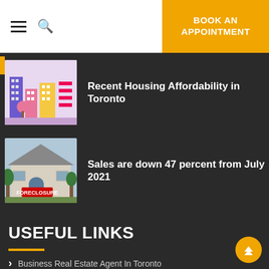BOOK AN APPOINTMENT
[Figure (illustration): Colorful cartoon illustration of city buildings - housing illustration]
Recent Housing Affordability in Toronto
[Figure (photo): Photo of a house with a red FORECLOSURE sign in front]
Sales are down 47 percent from July 2021
USEFUL LINKS
Business Real Estate Agent In Toronto
Real Estate Agents For Investors In Toronto
I Need A Real Estate Agent In Toronto